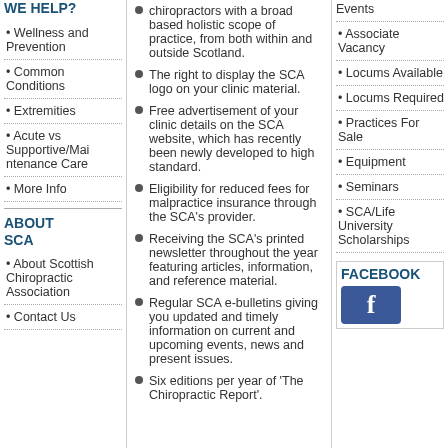WE HELP?
Wellness and Prevention
Common Conditions
Extremities
Acute vs Supportive/Maintenance Care
More Info
ABOUT SCA
About Scottish Chiropractic Association
Contact Us
chiropractors with a broad based holistic scope of practice, from both within and outside Scotland.
The right to display the SCA logo on your clinic material.
Free advertisement of your clinic details on the SCA website, which has recently been newly developed to high standard.
Eligibility for reduced fees for malpractice insurance through the SCA's provider.
Receiving the SCA's printed newsletter throughout the year featuring articles, information, and reference material.
Regular SCA e-bulletins giving you updated and timely information on current and upcoming events, news and present issues.
Six editions per year of 'The Chiropractic Report'.
Events
Associate Vacancy
Locums Available
Locums Required
Practices For Sale
Equipment
Seminars
SCA/Life University Scholarships
FACEBOOK
[Figure (logo): Facebook logo icon, blue square with white lowercase 'f']